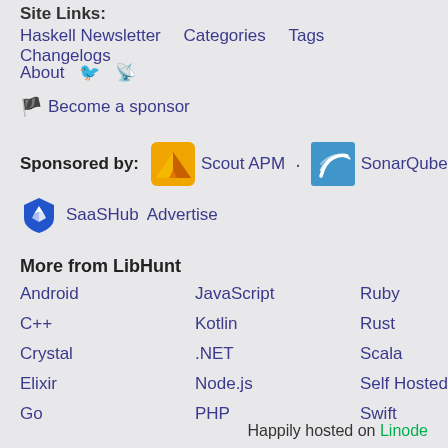Site Links:
Haskell Newsletter   Categories   Tags   Changelogs
About  🐦  RSS
🏴 Become a sponsor
Sponsored by:  Scout APM  ·  SonarQube
SaaSHub   Advertise
More from LibHunt
Android
C++
Crystal
Elixir
Go
iOS
Java
JavaScript
Kotlin
.NET
Node.js
PHP
Python
React
Ruby
Rust
Scala
Self Hosted
Swift
SysAdmin
Happily hosted on Linode